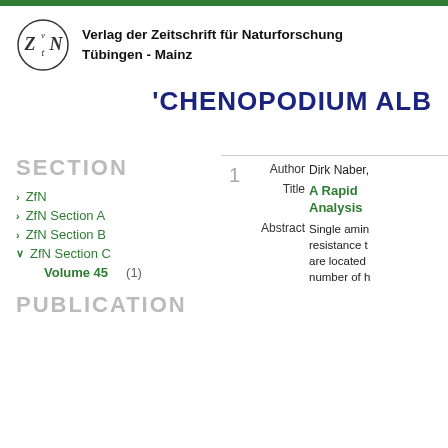Verlag der Zeitschrift für Naturforschung Tübingen - Mainz
'CHENOPODIUM ALB
SECTION
ZfN
ZfN Section A
ZfN Section B
ZfN Section C
Volume 45   (1)
PUBLICATION
1   Author  Dirk Naber,   Title  A Rapid Analysis   Abstract  Single amin resistance t are located number of h